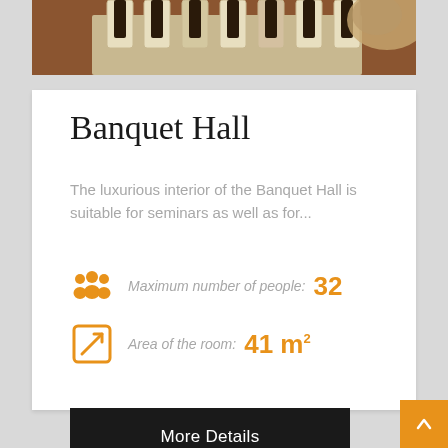[Figure (photo): Top portion of a photo showing a banquet hall interior with chairs and tables with white/cream coverings]
Banquet Hall
The luxurious interior of the Banquet Hall is suitable for seminars as well as for...
Maximum number of people: 32
Area of the room: 41 m²
More Details